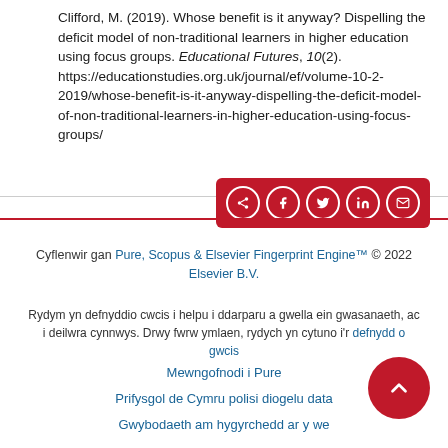Clifford, M. (2019). Whose benefit is it anyway? Dispelling the deficit model of non-traditional learners in higher education using focus groups. Educational Futures, 10(2). https://educationstudies.org.uk/journal/ef/volume-10-2-2019/whose-benefit-is-it-anyway-dispelling-the-deficit-model-of-non-traditional-learners-in-higher-education-using-focus-groups/
[Figure (infographic): Red share button bar with icons for share, Facebook, Twitter, LinkedIn, and email]
Cyflenwir gan Pure, Scopus & Elsevier Fingerprint Engine™ © 2022 Elsevier B.V.
Rydym yn defnyddio cwcis i helpu i ddarparu a gwella ein gwasanaeth, ac i deilwra cynnwys. Drwy fwrw ymlaen, rydych yn cytuno i'r defnydd o gwcis
Mewngofnodi i Pure
Prifysgol de Cymru polisi diogelu data
Gwybodaeth am hygyrchedd ar y we